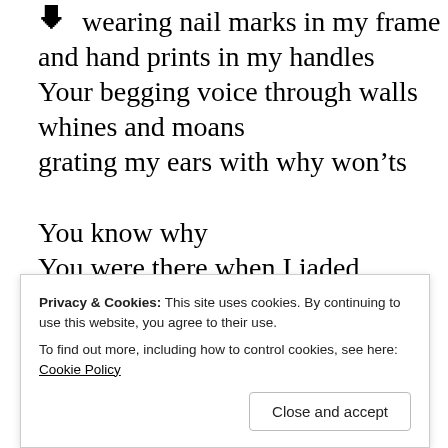wearing nail marks in my frame
and hand prints in my handles
Your begging voice through walls
whines and moans
grating my ears with why won’ts
You know why
You were there when I jaded
You plead with eyes
Privacy & Cookies: This site uses cookies. By continuing to use this website, you agree to their use.
To find out more, including how to control cookies, see here: Cookie Policy
Close and accept